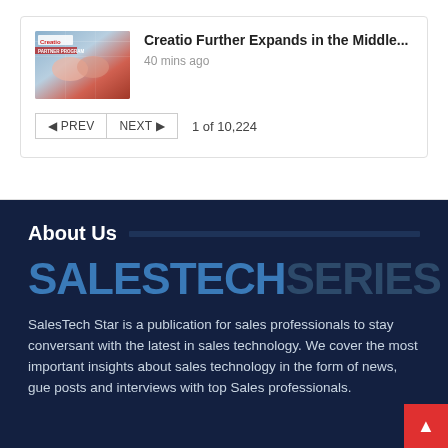[Figure (photo): Thumbnail image showing two people shaking hands with a Creatio logo overlay, reddish background]
Creatio Further Expands in the Middle...
40 mins ago
◁ PREV   NEXT ▷   1 of 10,224
About Us
[Figure (logo): SalesTechSeries logo — SALESTECH in blue, SERIES in dark blue/navy]
SalesTech Star is a publication for sales professionals to stay conversant with the latest in sales technology. We cover the most important insights about sales technology in the form of news, guest posts and interviews with top Sales professionals.